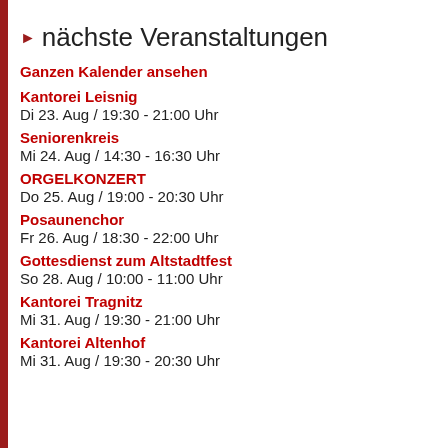▶ nächste Veranstaltungen
Ganzen Kalender ansehen
Kantorei Leisnig
Di 23. Aug / 19:30 - 21:00 Uhr
Seniorenkreis
Mi 24. Aug / 14:30 - 16:30 Uhr
ORGELKONZERT
Do 25. Aug / 19:00 - 20:30 Uhr
Posaunenchor
Fr 26. Aug / 18:30 - 22:00 Uhr
Gottesdienst zum Altstadtfest
So 28. Aug / 10:00 - 11:00 Uhr
Kantorei Tragnitz
Mi 31. Aug / 19:30 - 21:00 Uhr
Kantorei Altenhof
Mi 31. Aug / 19:30 - 20:30 Uhr